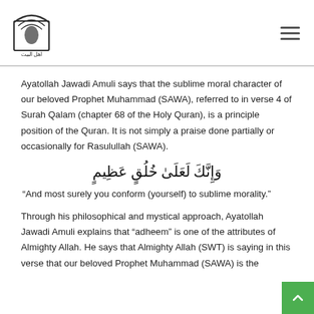[Figure (logo): Organization logo: arch/gate shape with Africa map and Arabic script below]
Ayatollah Jawadi Amuli says that the sublime moral character of our beloved Prophet Muhammad (SAWA), referred to in verse 4 of Surah Qalam (chapter 68 of the Holy Quran), is a principle position of the Quran. It is not simply a praise done partially or occasionally for Rasulullah (SAWA).
وَإِنَّكَ لَعَلَىٰ خُلُقٍ عَظِيمٍ
“And most surely you conform (yourself) to sublime morality.”
Through his philosophical and mystical approach, Ayatollah Jawadi Amuli explains that “adheem” is one of the attributes of Almighty Allah. He says that Almighty Allah (SWT) is saying in this verse that our beloved Prophet Muhammad (SAWA) is the